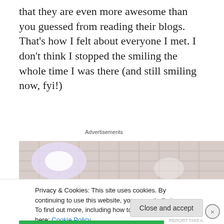that they are even more awesome than you guessed from reading their blogs. That's how I felt about everyone I met. I don't think I stopped the smiling the whole time I was there (and still smiling now, fyi!)
Advertisements
[Figure (photo): Photo of people gathered inside a restaurant or diner with tiled walls and bright lighting]
Privacy & Cookies: This site uses cookies. By continuing to use this website, you agree to their use.
To find out more, including how to control cookies, see here: Cookie Policy
Close and accept